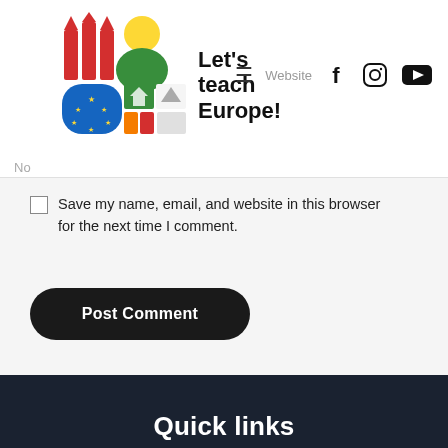[Figure (logo): Let's teach Europe! logo with colorful icon of pencils, EU flag, house, and person figure]
Save my name, email, and website in this browser for the next time I comment.
Post Comment
Quick links